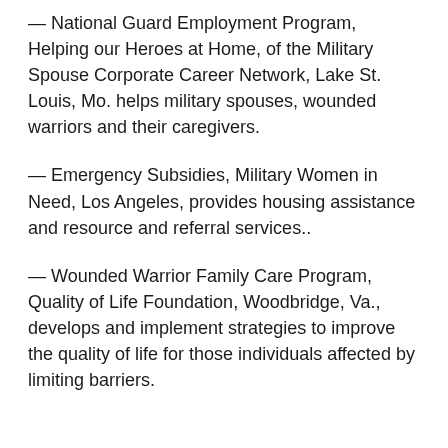— National Guard Employment Program, Helping our Heroes at Home, of the Military Spouse Corporate Career Network, Lake St. Louis, Mo. helps military spouses, wounded warriors and their caregivers.
— Emergency Subsidies, Military Women in Need, Los Angeles, provides housing assistance and resource and referral services..
— Wounded Warrior Family Care Program, Quality of Life Foundation, Woodbridge, Va., develops and implement strategies to improve the quality of life for those individuals affected by limiting barriers.